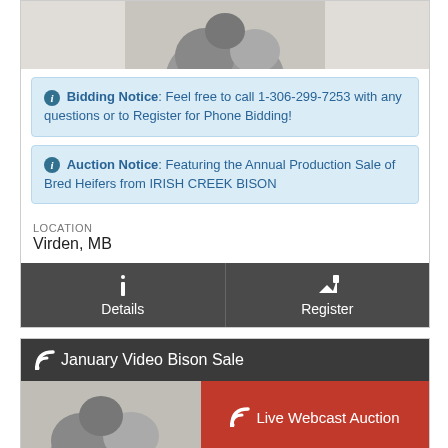[Figure (photo): Partial black and white photo of a bison at the top of the card]
Bidding Notice: Feel free to call 1-306-299-7253 with any questions or to Register for Phone Bidding!
Auction Notice: Featuring the Annual Production Sale of Bred Heifers from IRISH CREEK BISON
LOCATION
Virden, MB
Details
Register
January Video Bison Sale
Live Webcast Auction